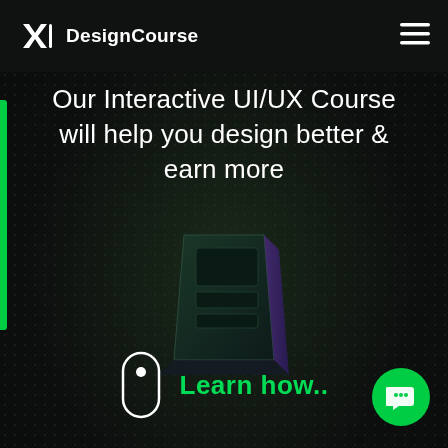DesignCourse
Our Interactive UI/UX Course will help you design better & earn more
[Figure (illustration): 3D isometric dark-themed device (tablet/book) with green neon glowing line at its base, floating on a dark textured background]
[Figure (illustration): Scroll indicator: rounded pill outline with white dot inside, next to green 'Learn how..' text]
[Figure (illustration): Green circular chat/message button in bottom right corner]